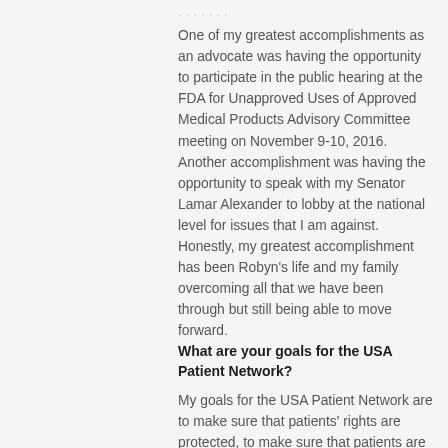One of my greatest accomplishments as an advocate was having the opportunity to participate in the public hearing at the FDA for Unapproved Uses of Approved Medical Products Advisory Committee meeting on November 9-10, 2016. Another accomplishment was having the opportunity to speak with my Senator Lamar Alexander to lobby at the national level for issues that I am against. Honestly, my greatest accomplishment has been Robyn's life and my family overcoming all that we have been through but still being able to move forward.
What are your goals for the USA Patient Network?
My goals for the USA Patient Network are to make sure that patients' rights are protected, to make sure that patients are safe and to push for transparency in the healthcare system. I would like to focus more on neurological issues and get the